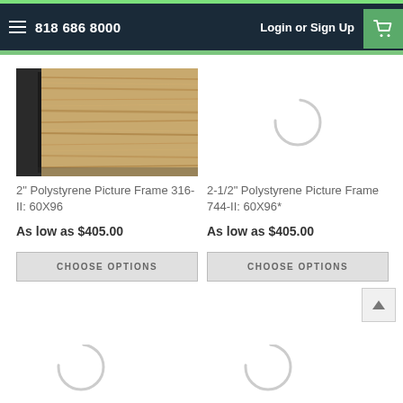818 686 8000   Login or Sign Up
[Figure (photo): Wood grain texture picture frame sample, left product]
2" Polystyrene Picture Frame 316-II: 60X96
As low as $405.00
CHOOSE OPTIONS
[Figure (other): Loading spinner placeholder, right product image loading]
2-1/2" Polystyrene Picture Frame 744-II: 60X96*
As low as $405.00
CHOOSE OPTIONS
[Figure (other): Loading spinner placeholder, bottom left product]
[Figure (other): Loading spinner placeholder, bottom right product]